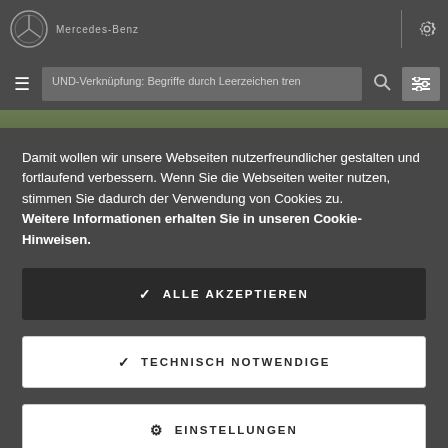[Figure (screenshot): Mercedes-Benz website top navigation bar with logo and gear settings icon]
[Figure (screenshot): Search bar with hamburger menu, search input field showing 'UND-Verknüpfung: Begriffe durch Leerzeichen tren', search icon and filter button]
Damit wollen wir unsere Webseiten nutzerfreundlicher gestalten und fortlaufend verbessern. Wenn Sie die Webseiten weiter nutzen, stimmen Sie dadurch der Verwendung von Cookies zu. Weitere Informationen erhalten Sie in unseren Cookie-Hinweisen.
✓ ALLE AKZEPTIEREN
✓ TECHNISCH NOTWENDIGE
⚙ EINSTELLUNGEN